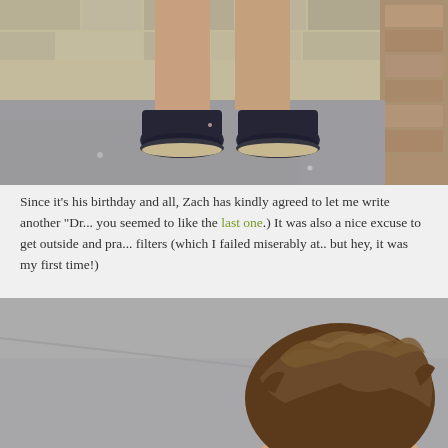[Figure (photo): Cropped photo showing a person's legs from the knees down wearing dark navy/black oxford shoes, standing on a concrete sidewalk against a weathered brick/stone wall background.]
Since it's his birthday and all, Zach has kindly agreed to let me write another "Dr... you seemed to like the last one.) It was also a nice excuse to get outside and pra... filters (which I failed miserably at.. but hey, it was my first time!)
[Figure (photo): Photo of a young man with brown wavy/curly hair, shown from above the shoulders, standing on a grey concrete surface. The photo is cropped so only the top of his head and hair are fully visible.]